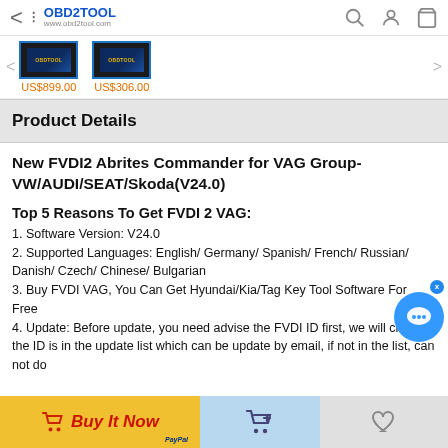OBD2TOOL www.obd2tool.com
[Figure (screenshot): Product thumbnail 1 - dark electronic component with blue border, priced US$899.00]
[Figure (screenshot): Product thumbnail 2 - dark electronic component with blue border, priced US$306.00]
US$899.00
US$306.00
Product Details
New  FVDI2 Abrites Commander for VAG Group-VW/AUDI/SEAT/Skoda(V24.0)
Top 5 Reasons To Get FVDI 2 VAG:
1. Software Version: V24.0
2. Supported Languages: English/ Germany/ Spanish/ French/ Russian/ Danish/ Czech/ Chinese/ Bulgarian
3. Buy FVDI VAG, You Can Get Hyundai/Kia/Tag Key Tool Software For Free
4. Update: Before update, you need advise the FVDI ID first, we will check if the ID is in the update list which can be update by email, if not in the list, can not do
Buy It Now